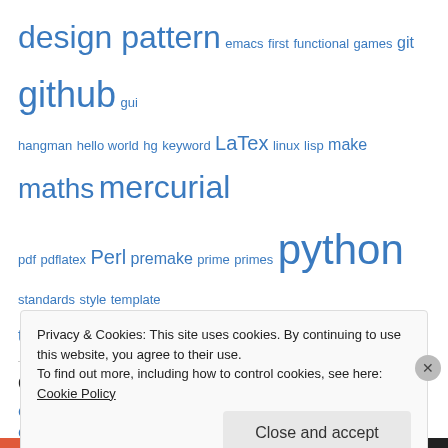design pattern emacs first functional games git github gui hangman hello world hg keyword LaTex linux lisp make maths mercurial pdf pdflatex Perl premake prime primes python standards style template testing tkinter tools UnitC++ unittest version control
Categories
C++ (12)
C++11 (6)
Code (16)
Privacy & Cookies: This site uses cookies. By continuing to use this website, you agree to their use. To find out more, including how to control cookies, see here: Cookie Policy
Close and accept